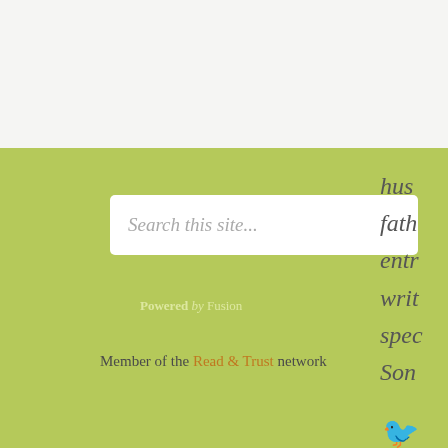[Figure (screenshot): Search input box with placeholder text 'Search this site...' on a yellow-green background]
Powered by Fusion
Member of the Read & Trust network
hus... fath... entr... writ... spe... Son...
[Figure (illustration): Twitter bird icon (white), circular icon (white), RSS feed icon (white) on green background, partially visible on right edge]